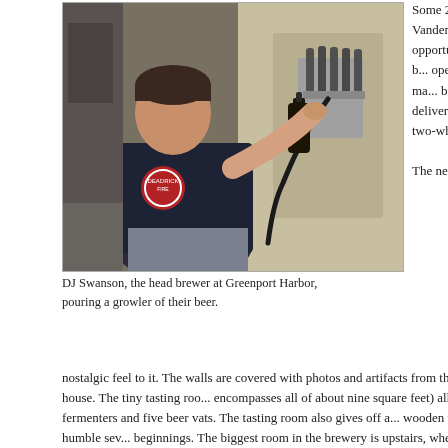[Figure (photo): DJ Swanson, the head brewer at Greenport Harbor, pouring a growler of beer from tap handles mounted on a light wood panel wall inside the brewery.]
DJ Swanson, the head brewer at Greenport Harbor, pouring a growler of their beer.
Some 20 years of so... college ambitions be... Vandenburgh saw Gr... department garage fo... opportunity in front of... location was perfect b... open shop in a public... months personally ma... building. On July 17, ... Liegey hand-delivere... Brewing's first keg of ... Shack on a two-whee... officially open.
The newly-renovated ... nostalgic feel to it. The walls are covered with photos and artifacts from the buil... the 1898 Star Hose and Eagle Hook and Ladder fire house. The tiny tasting roo... encompasses all of about nine square feet) allows for ample viewing directly int... breweries three fermenters and five beer vats. The tasting room also gives off a... wooden whale decorations on the walls, a throwback to the village's humble sev... beginnings. The biggest room in the brewery is upstairs, where rentals are avail... the walls are laden with local folk artist Candyce Brokaw's visionary works.